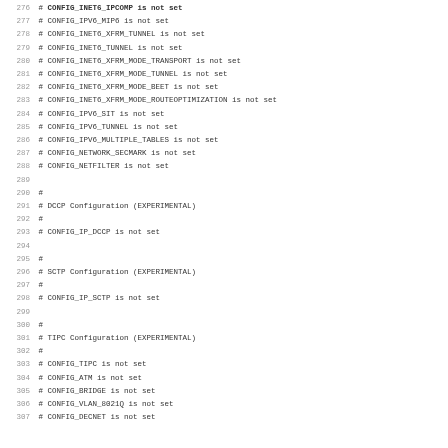Code listing lines 276-307: Linux kernel configuration file showing network-related CONFIG options commented out as 'is not set', including IPv6, DCCP, SCTP, TIPC, ATM, BRIDGE, VLAN, and DECNET configurations.